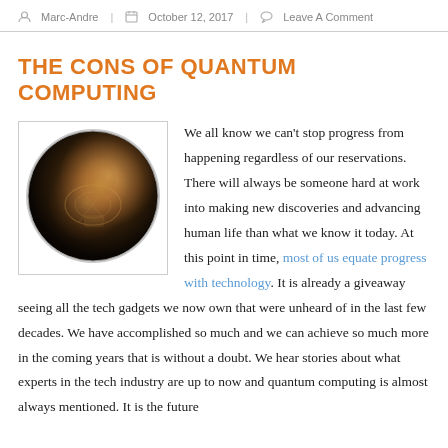Marc-Andre | October 12, 2017 | Leave A Comment
THE CONS OF QUANTUM COMPUTING
[Figure (photo): Circular fisheye-lens photo of a person working on quantum computing equipment, shown in a round frame against a dark background]
We all know we can't stop progress from happening regardless of our reservations. There will always be someone hard at work into making new discoveries and advancing human life than what we know it today. At this point in time, most of us equate progress with technology. It is already a giveaway seeing all the tech gadgets we now own that were unheard of in the last few decades. We have accomplished so much and we can achieve so much more in the coming years that is without a doubt. We hear stories about what experts in the tech industry are up to now and quantum computing is almost always mentioned. It is the future